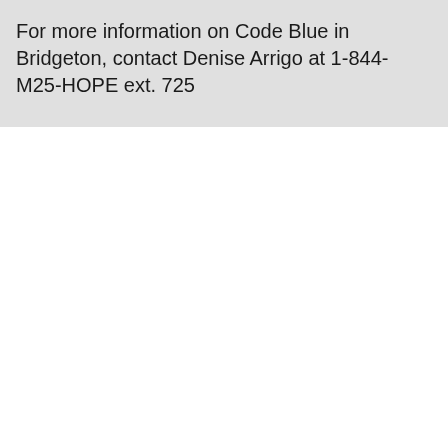For more information on Code Blue in Bridgeton, contact Denise Arrigo at 1-844-M25-HOPE ext. 725